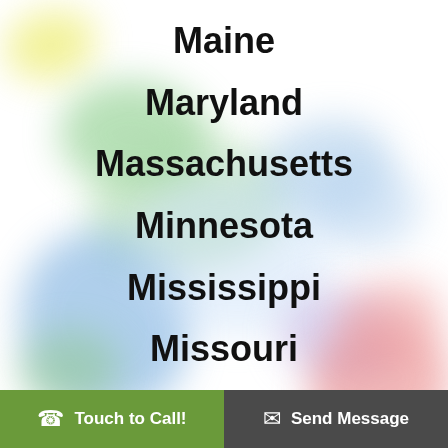Maine
Maryland
Massachusetts
Minnesota
Mississippi
Missouri
📞 Touch to Call!   ✉ Send Message